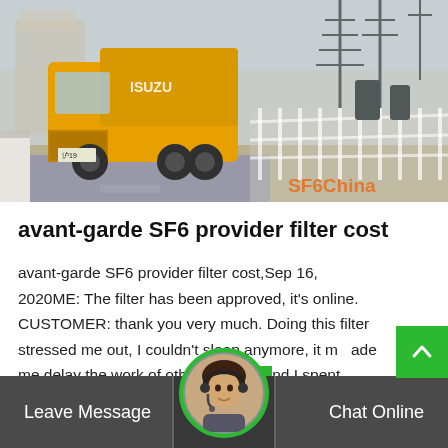[Figure (photo): Yellow ISUZU truck driving near an electrical substation with transmission towers and white fencing. Watermark 'SF6China' in orange text at bottom right.]
avant-garde SF6 provider filter cost
avant-garde SF6 provider filter cost,Sep 16, 2020ME: The filter has been approved, it's online. CUSTOMER: thank you very much. Doing this filter stressed me out, I couldn't sleep anymore, it made me delay the work of other projects and I spent more money. I